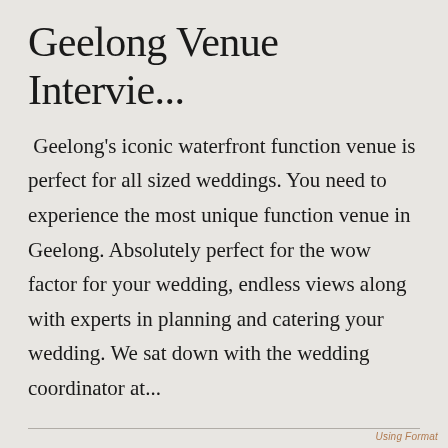Geelong Venue Intervie...
Geelong's iconic waterfront function venue is perfect for all sized weddings. You need to experience the most unique function venue in Geelong. Absolutely perfect for the wow factor for your wedding, endless views along with experts in planning and catering your wedding. We sat down with the wedding coordinator at...
Yarra Valley Venue Interv...
You will find The Farm Yarra Valley's elegant farmhouse at the top of a hill that looks out to
Using Format